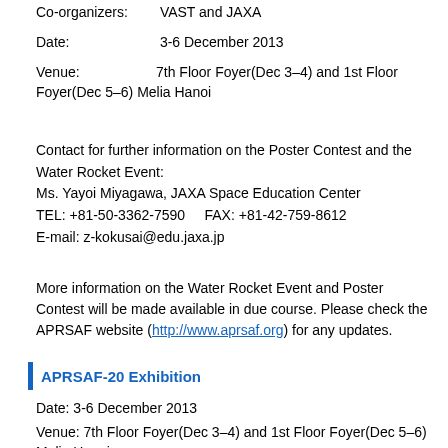Co-organizers: VAST and JAXA
Date: 3-6 December 2013
Venue: 7th Floor Foyer(Dec 3–4) and 1st Floor Foyer(Dec 5–6) Melia Hanoi
Contact for further information on the Poster Contest and the Water Rocket Event:
Ms. Yayoi Miyagawa, JAXA Space Education Center
TEL: +81-50-3362-7590    FAX: +81-42-759-8612
E-mail: z-kokusai@edu.jaxa.jp
More information on the Water Rocket Event and Poster Contest will be made available in due course. Please check the APRSAF website (http://www.aprsaf.org) for any updates.
APRSAF-20 Exhibition
Date: 3-6 December 2013
Venue: 7th Floor Foyer(Dec 3–4) and 1st Floor Foyer(Dec 5–6) Melia Hanoi